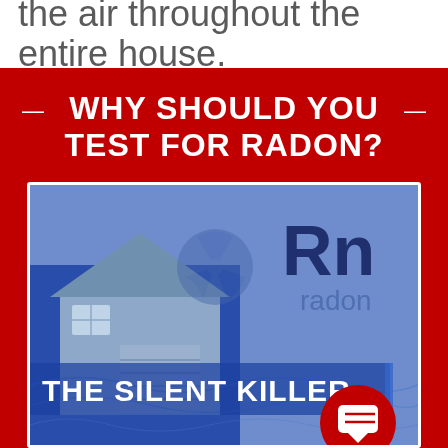the air throughout the entire house.
WHY SHOULD YOU TEST FOR RADON?
[Figure (illustration): Image showing a suburban house with blue overlay and the text 'Rn radon THE SILENT KILLER' displayed prominently. A red chat icon appears in the lower right corner.]